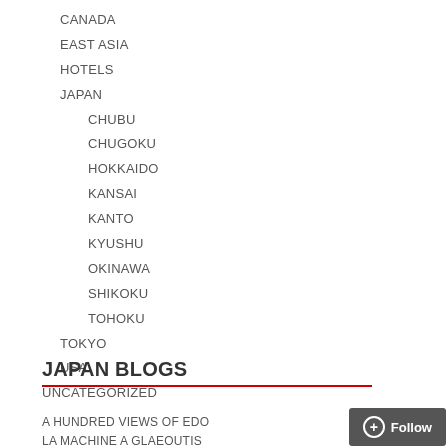CANADA
EAST ASIA
HOTELS
JAPAN
CHUBU
CHUGOKU
HOKKAIDO
KANSAI
KANTO
KYUSHU
OKINAWA
SHIKOKU
TOHOKU
TOKYO
USA
UNCATEGORIZED
JAPAN BLOGS
A HUNDRED VIEWS OF EDO
LA MACHINE A GLAEOUTI S